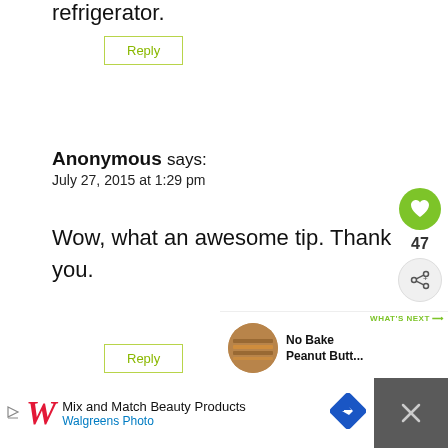refrigerator.
Reply
Anonymous says:
July 27, 2015 at 1:29 pm
Wow, what an awesome tip. Thank you.
Reply
[Figure (infographic): Floating sidebar with heart/like button (47 likes) and share button]
[Figure (infographic): What's Next panel with thumbnail and text 'No Bake Peanut Butt...']
[Figure (infographic): Advertisement banner: Walgreens Photo - Mix and Match Beauty Products]